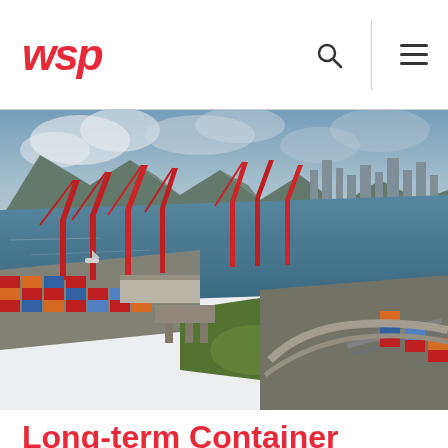wsp
[Figure (photo): Aerial photograph of Vancouver Fraser port showing container terminals, shipping cranes, colorful stacked containers, waterways, green parkland, and railway lines with freight cars]
Long-term Container Traffic Forecasts for Vancouver Fraser